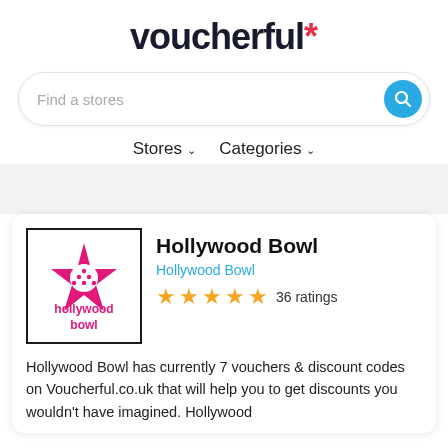voucherful*
Find a stores
Stores   Categories
Hollywood Bowl
Hollywood Bowl
36 ratings
Hollywood Bowl has currently 7 vouchers & discount codes on Voucherful.co.uk that will help you to get discounts you wouldn't have imagined. Hollywood